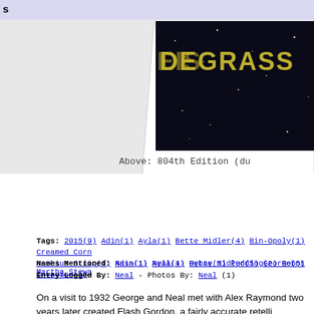s
[Figure (photo): Partial image showing a dark starfield background with partial golden/yellow text visible, appearing to be a book or magazine cover. The image is cut off on the right side showing only 'DEGRASS' in large letters.]
Above: 804th Edition (du
Tags: 2015(9) Adin(1) Ayla(1) Bette Midler(4) Bin-Opoly(1) Creamed Corn Moebius Strip(1) Nasa(1) Neal(4) Oybay(1) Pudding(2) Robot Invasion(1)
Names Mentioned: Adin(1) Ayla(1) Bette Midler(5) George(5) Martha Stewa
Entry Logged By: Neal - Photos By: Neal (1)
On a visit to 1932 George and Neal met with Alex Raymond two years later created Flash Gordon, a fairly accurate retelli personalities are different, Raymond honored George and Ne the Merciless and Dr. Hans Zarkov respectively. In an unusu Merciless in the 1934 serials, 1970s television show, the 202 the 2034 100th anniversary live action extravaganza world to